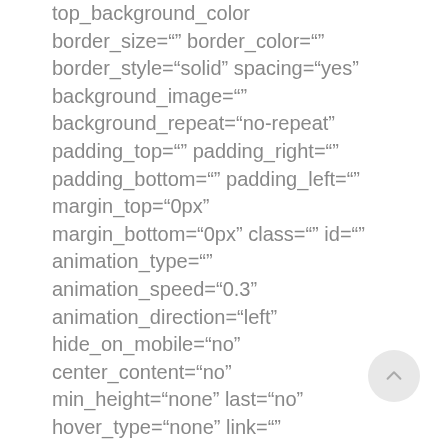top_background_color
border_size="" border_color=""
border_style="solid" spacing="yes"
background_image=""
background_repeat="no-repeat"
padding_top="" padding_right=""
padding_bottom="" padding_left=""
margin_top="0px"
margin_bottom="0px" class="" id=""
animation_type=""
animation_speed="0.3"
animation_direction="left"
hide_on_mobile="no"
center_content="no"
min_height="none" last="no"
hover_type="none" link=""